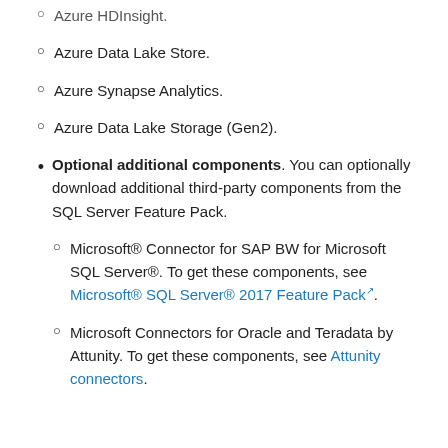Azure HDInsight.
Azure Data Lake Store.
Azure Synapse Analytics.
Azure Data Lake Storage (Gen2).
Optional additional components. You can optionally download additional third-party components from the SQL Server Feature Pack.
Microsoft® Connector for SAP BW for Microsoft SQL Server®. To get these components, see Microsoft® SQL Server® 2017 Feature Pack.
Microsoft Connectors for Oracle and Teradata by Attunity. To get these components, see Attunity connectors.